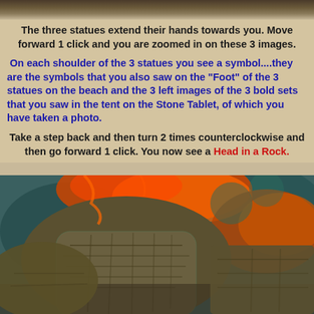[Figure (screenshot): Top strip showing dark rocky/ground texture from a game scene]
The three statues extend their hands towards you. Move forward 1 click and you are zoomed in on these 3 images.
On each shoulder of the 3 statues you see a symbol....they are the symbols that you also saw on the "Foot" of the 3 statues on the beach and the 3 left images of the 3 bold sets that you saw in the tent on the Stone Tablet, of which you have taken a photo.
Take a step back and then turn 2 times counterclockwise and then go forward 1 click. You now see a Head in a Rock.
[Figure (screenshot): Game screenshot showing a stone head/statue carved in rock with glowing orange/red lava-like cracks and teal/green rocky surroundings]